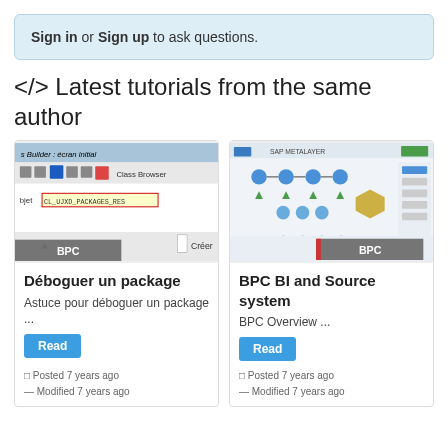Sign in or Sign up to ask questions.
</> Latest tutorials from the same author
[Figure (screenshot): Screenshot of an SAP development tool (Class Builder: écran initial) showing toolbar icons, class browser, and an object field with CL_UJXD_PACKAGES_RES value. A gray BPC badge overlays the bottom.]
Déboguer un package
Astuce pour déboguer un package ...
Read
Posted 7 years ago
Modified 7 years ago
[Figure (screenshot): Screenshot of SAP METALAYER diagram showing BPC BI architecture with colored nodes, arrows, and component labels. A gray BPC badge overlays the bottom.]
BPC BI and Source system
BPC Overview ...
Read
Posted 7 years ago
Modified 7 years ago